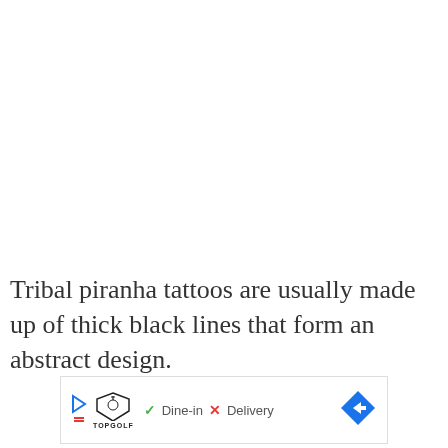Tribal piranha tattoos are usually made up of thick black lines that form an abstract design.
[Figure (other): Advertisement banner for Topgolf showing play button icon, Topgolf logo, checkmark with 'Dine-in', X with 'Delivery', and a blue arrow button on the right.]